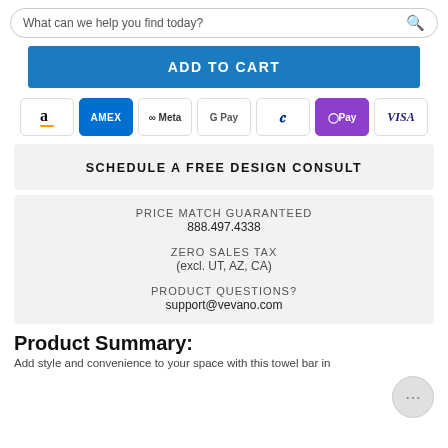What can we help you find today?
ADD TO CART
[Figure (other): Payment method icons: Amazon, AMEX, Meta, Google Pay, PayPal, DPay, VISA]
SCHEDULE A FREE DESIGN CONSULT
PRICE MATCH GUARANTEED
888.497.4338
ZERO SALES TAX
(excl. UT, AZ, CA)
PRODUCT QUESTIONS?
support@vevano.com
Product Summary:
Add style and convenience to your space with this towel bar in